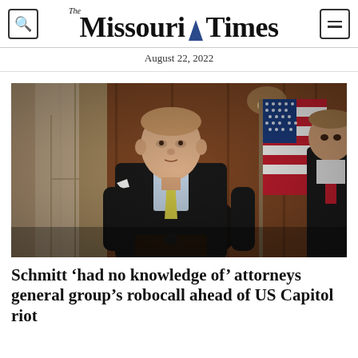The Missouri Times — August 22, 2022
[Figure (photo): A man in a dark suit with a yellow tie standing at a podium in a wood-paneled room with an American flag in the background. Another man in a dark suit with a red tie is visible to the right.]
Schmitt ‘had no knowledge of’ attorneys general group’s robocall ahead of US Capitol riot